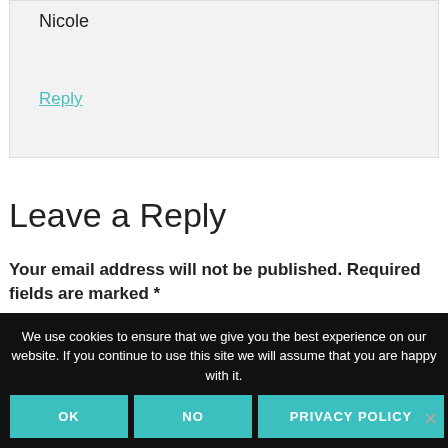Nicole
Reply
Leave a Reply
Your email address will not be published. Required fields are marked *
We use cookies to ensure that we give you the best experience on our website. If you continue to use this site we will assume that you are happy with it.
OK  NO  PRIVACY POLICY